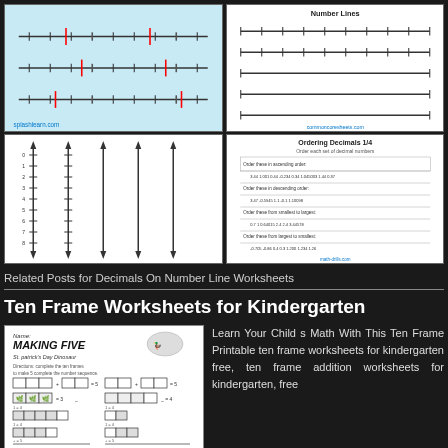[Figure (screenshot): Worksheet thumbnail showing a number line with decimals, light blue background]
[Figure (screenshot): Worksheet thumbnail showing multiple horizontal number lines on white background]
[Figure (screenshot): Worksheet thumbnail showing vertical number lines on white background]
[Figure (screenshot): Worksheet thumbnail showing 'Ordering Decimals 1/4' worksheet with tables]
Related Posts for Decimals On Number Line Worksheets
Ten Frame Worksheets for Kindergarten
[Figure (screenshot): Making Five St. Patrick's Day Dinosaur ten frame worksheet for kindergarten]
Learn Your Child s Math With This Ten Frame Printable ten frame worksheets for kindergarten free, ten frame addition worksheets for kindergarten, free